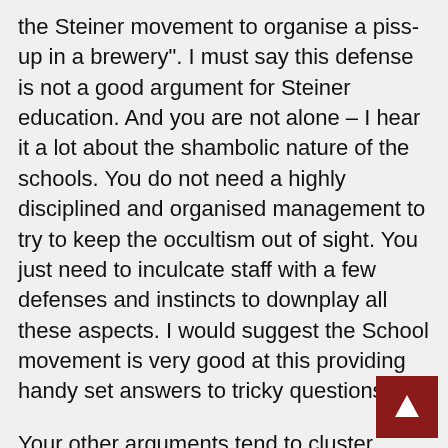the Steiner movement to organise a piss-up in a brewery". I must say this defense is not a good argument for Steiner education. And you are not alone – I hear it a lot about the shambolic nature of the schools. You do not need a highly disciplined and organised management to try to keep the occultism out of sight. You just need to inculcate staff with a few defenses and instincts to downplay all these aspects. I would suggest the School movement is very good at this providing handy set answers to tricky questions.
Your other arguments tend to cluster around Tu Quoque attacks of other schools, snd post hoc cherry picking of academic evidence to support the occult practices. But you do suggest that focus should be on reforming Steiner education and moderising it. I believe that to be impossible. It has not evolved in a hundred years and I see no reason why it should do now. It is not an evidence-based and